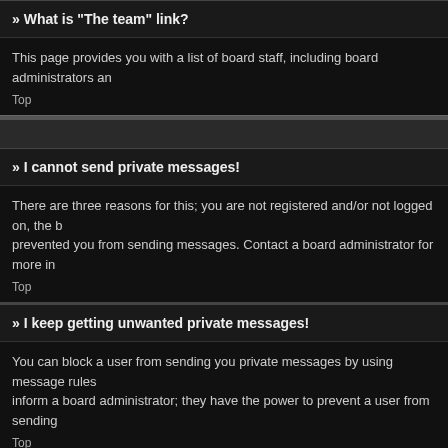» What is "The team" link?
This page provides you with a list of board staff, including board administrators an
Top
» I cannot send private messages!
There are three reasons for this; you are not registered and/or not logged on, the b prevented you from sending messages. Contact a board administrator for more in
Top
» I keep getting unwanted private messages!
You can block a user from sending you private messages by using message rules inform a board administrator; they have the power to prevent a user from sending
Top
» I have received a spamming or abusive e-mail from someone on this board
We are sorry to hear that. The e-mail form feature of this board includes safeguard e-mail you received. It is very important that this includes the headers that contain
Top